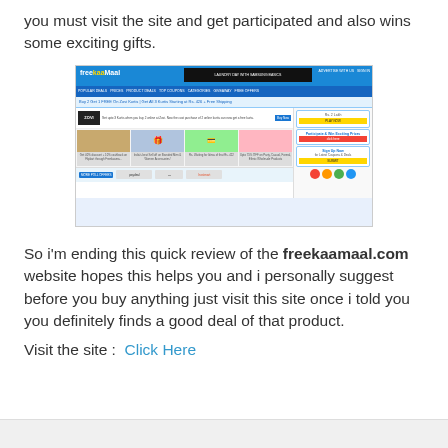you must visit the site and get participated and also wins some exciting gifts.
[Figure (screenshot): Screenshot of the freekaamaal.com website showing deals, offers, product thumbnails and partner brand logos at the bottom.]
So i'm ending this quick review of the freekaamaal.com website hopes this helps you and i personally suggest before you buy anything just visit this site once i told you you definitely finds a good deal of that product.
Visit the site :  Click Here